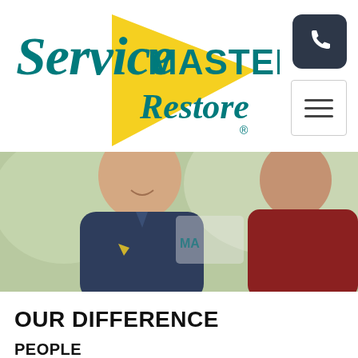[Figure (logo): ServiceMaster Restore logo with teal text and yellow triangle]
[Figure (photo): A ServiceMaster Restore technician in dark blue polo shirt smiling at a customer, with a van visible in the background]
OUR DIFFERENCE
PEOPLE
At ServiceMaster Restore of London, we are committed